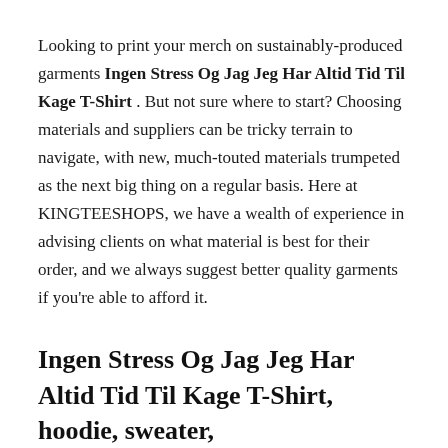Looking to print your merch on sustainably-produced garments Ingen Stress Og Jag Jeg Har Altid Tid Til Kage T-Shirt . But not sure where to start? Choosing materials and suppliers can be tricky terrain to navigate, with new, much-touted materials trumpeted as the next big thing on a regular basis. Here at KINGTEESHOPS, we have a wealth of experience in advising clients on what material is best for their order, and we always suggest better quality garments if you're able to afford it.
Ingen Stress Og Jag Jeg Har Altid Tid Til Kage T-Shirt, hoodie, sweater,